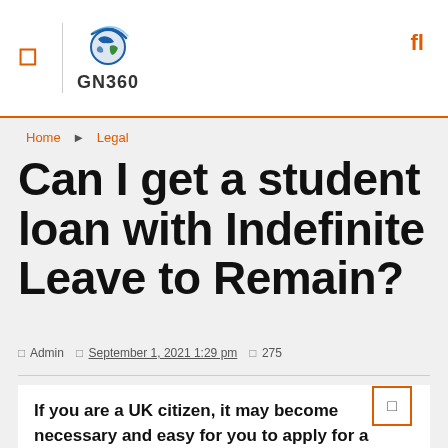GN360
Home » Legal
Can I get a student loan with Indefinite Leave to Remain?
Admin   September 1, 2021 1:29 pm   275
If you are a UK citizen, it may become necessary and easy for you to apply for a student education loan